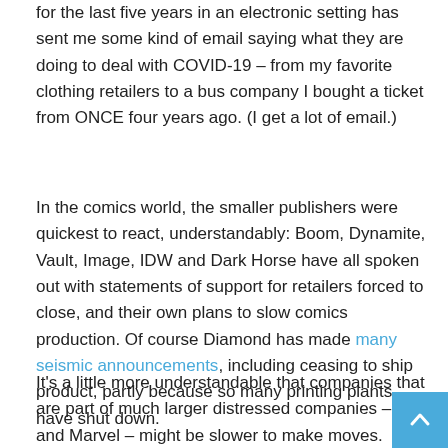for the last five years in an electronic setting has sent me some kind of email saying what they are doing to deal with COVID-19 – from my favorite clothing retailers to a bus company I bought a ticket from ONCE four years ago. (I get a lot of email.)
In the comics world, the smaller publishers were quickest to react, understandably: Boom, Dynamite, Vault, Image, IDW and Dark Horse have all spoken out with statements of support for retailers forced to close, and their own plans to slow comics production. Of course Diamond has made many seismic announcements, including ceasing to ship product, partly because so many printing plants have shut down.
It's a little more understandable that companies that are part of much larger distressed companies – DC and Marvel – might be slower to make moves. AT&T is in debt to its eyeballs and Disney is reeling from shutting down all their parks. Little comic